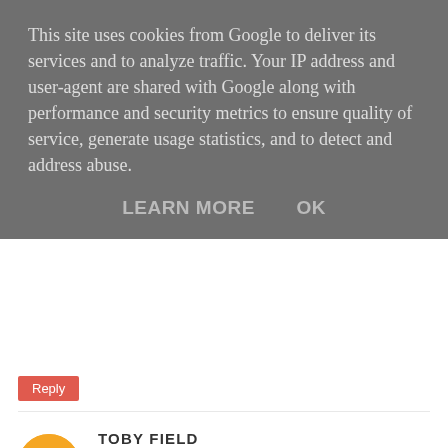This site uses cookies from Google to deliver its services and to analyze traffic. Your IP address and user-agent are shared with Google along with performance and security metrics to ensure quality of service, generate usage statistics, and to detect and address abuse.
LEARN MORE   OK
Reply
TOBY FIELD
22 AUGUST 2014 AT 21:20
Hi Scott. I went from the mountain bike to the road bike. I ride both now though.
Reply
KIRSTY
28 AUGUST 2014 AT 01:06
Hi toby, i must be mad but i just signed up to the welsh 50km velaton suggested by my pt for june 2015. However i have no bike at mo i use a spin bike at home. The worry i have is im currently at the beginning